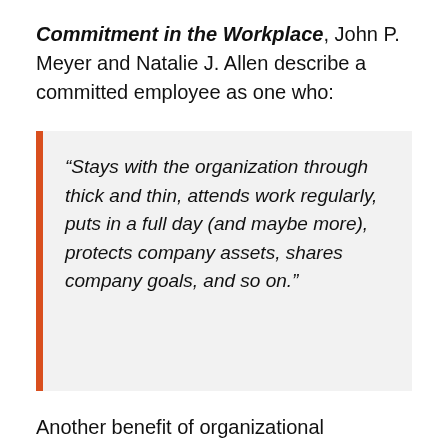Commitment in the Workplace, John P. Meyer and Natalie J. Allen describe a committed employee as one who:
“Stays with the organization through thick and thin, attends work regularly, puts in a full day (and maybe more), protects company assets, shares company goals, and so on.”
Another benefit of organizational